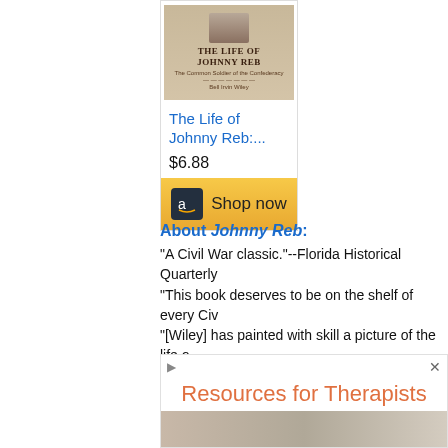[Figure (photo): Book cover of 'The Life of Johnny Reb' showing a face at top and title text]
The Life of Johnny Reb:...
$6.88
[Figure (other): Amazon 'Shop now' button with Amazon logo]
About Johnny Reb:
"A Civil War classic."--Florida Historical Quarterly
"This book deserves to be on the shelf of every Civ...
"[Wiley] has painted with skill a picture of the life o...
have."--Saturday Review of Literature
Try the Search Engine for Related Studies: Who w... dead History Details youngest Confederate Col...
[Figure (other): Advertisement banner: Resources for Therapists]